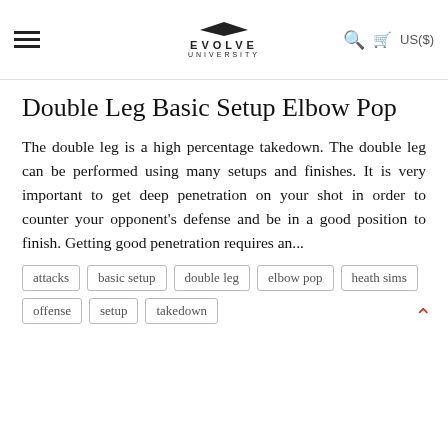Evolve University — navigation header with hamburger menu, logo, search, and cart
Double Leg Basic Setup Elbow Pop
The double leg is a high percentage takedown. The double leg can be performed using many setups and finishes. It is very important to get deep penetration on your shot in order to counter your opponent's defense and be in a good position to finish. Getting good penetration requires an...
attacks
basic setup
double leg
elbow pop
heath sims
offense
setup
takedown